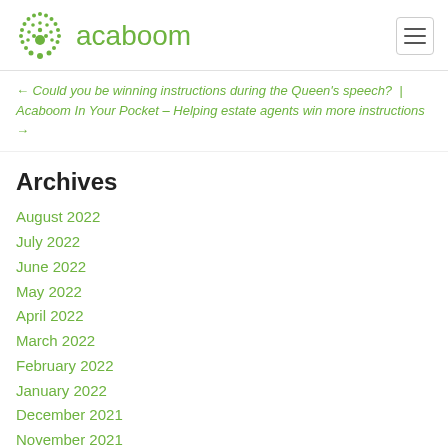acaboom
← Could you be winning instructions during the Queen's speech?  |  Acaboom In Your Pocket – Helping estate agents win more instructions →
Archives
August 2022
July 2022
June 2022
May 2022
April 2022
March 2022
February 2022
January 2022
December 2021
November 2021